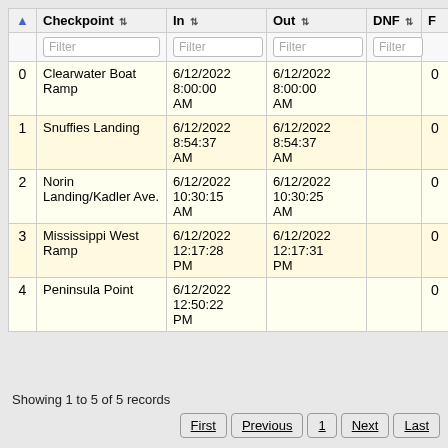| ▲ | Checkpoint ⇅ | In ⇅ | Out ⇅ | DNF ⇅ | F |
| --- | --- | --- | --- | --- | --- |
|  | Filter | Filter | Filter | Filter |  |
| 0 | Clearwater Boat Ramp | 6/12/2022 8:00:00 AM | 6/12/2022 8:00:00 AM |  | 0 |
| 1 | Snuffies Landing | 6/12/2022 8:54:37 AM | 6/12/2022 8:54:37 AM |  | 0 |
| 2 | Norin Landing/Kadler Ave. | 6/12/2022 10:30:15 AM | 6/12/2022 10:30:25 AM |  | 0 |
| 3 | Mississippi West Ramp | 6/12/2022 12:17:28 PM | 6/12/2022 12:17:31 PM |  | 0 |
| 4 | Peninsula Point | 6/12/2022 12:50:22 PM |  |  | 0 |
Showing 1 to 5 of 5 records